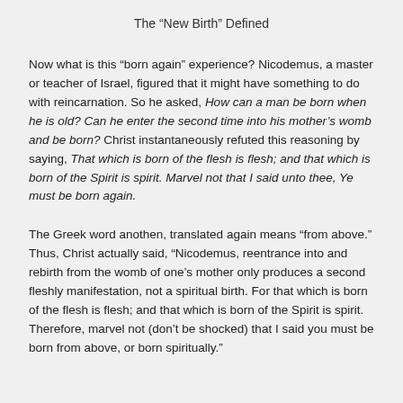The “New Birth” Defined
Now what is this “born again” experience? Nicodemus, a master or teacher of Israel, figured that it might have something to do with reincarnation. So he asked, How can a man be born when he is old? Can he enter the second time into his mother’s womb and be born? Christ instantaneously refuted this reasoning by saying, That which is born of the flesh is flesh; and that which is born of the Spirit is spirit. Marvel not that I said unto thee, Ye must be born again.
The Greek word anothen, translated again means “from above.” Thus, Christ actually said, “Nicodemus, reentrance into and rebirth from the womb of one’s mother only produces a second fleshly manifestation, not a spiritual birth. For that which is born of the flesh is flesh; and that which is born of the Spirit is spirit. Therefore, marvel not (don’t be shocked) that I said you must be born from above, or born spiritually.”